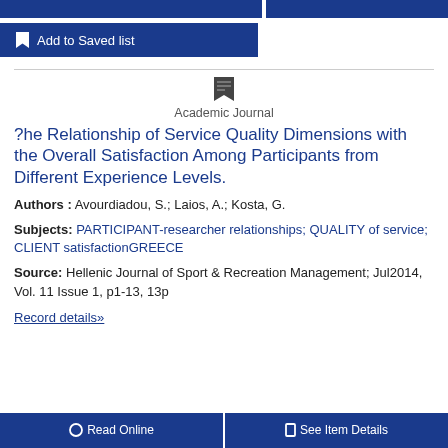Add to Saved list
Academic Journal
?he Relationship of Service Quality Dimensions with the Overall Satisfaction Among Participants from Different Experience Levels.
Authors : Avourdiadou, S.; Laios, A.; Kosta, G.
Subjects: PARTICIPANT-researcher relationships; QUALITY of service; CLIENT satisfactionGREECE
Source: Hellenic Journal of Sport & Recreation Management; Jul2014, Vol. 11 Issue 1, p1-13, 13p
Record details»
Read Online
See Item Details